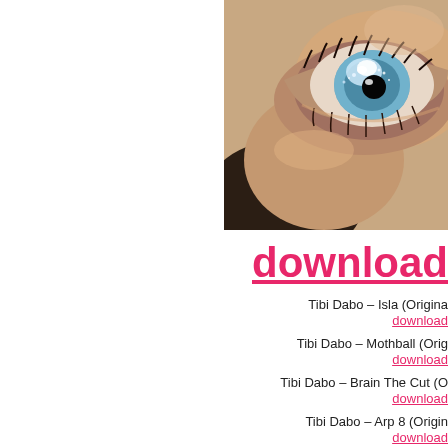[Figure (photo): Close-up photo of a human eye with blue glittery eyeshadow and dramatic eye makeup, warm skin tones surrounding the eye]
download
Tibi Dabo – Isla (Origina
download
Tibi Dabo – Mothball (Orig
download
Tibi Dabo – Brain The Cut (O
download
Tibi Dabo – Arp 8 (Origin
download